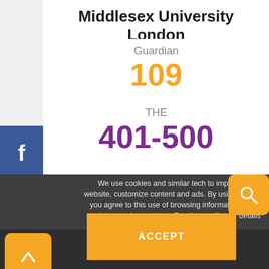Middlesex University London
Guardian
109
THE
401-500
Sunday Times
107
We use cookies and similar tech to improve our website, customize content and ads. By using our site, you agree to this use of browsing information by us and our service partners. Read our policy for details and opt out info. Find out more